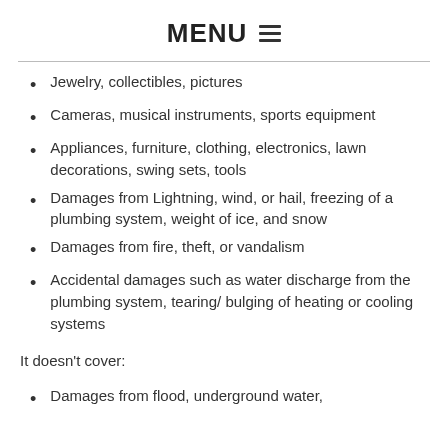MENU ≡
Jewelry, collectibles, pictures
Cameras, musical instruments, sports equipment
Appliances, furniture, clothing, electronics, lawn decorations, swing sets, tools
Damages from Lightning, wind, or hail, freezing of a plumbing system, weight of ice, and snow
Damages from fire, theft, or vandalism
Accidental damages such as water discharge from the plumbing system, tearing/ bulging of heating or cooling systems
It doesn't cover:
Damages from flood, underground water,